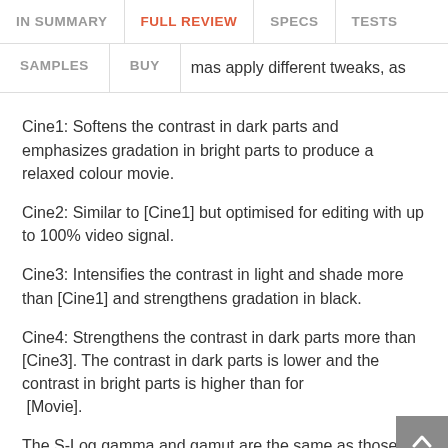IN SUMMARY | FULL REVIEW | SPECS | TESTS
SAMPLES | BUY | mas apply different tweaks, as
Cine1: Softens the contrast in dark parts and emphasizes gradation in bright parts to produce a relaxed colour movie.
Cine2: Similar to [Cine1] but optimised for editing with up to 100% video signal.
Cine3: Intensifies the contrast in light and shade more than [Cine1] and strengthens gradation in black.
Cine4: Strengthens the contrast in dark parts more than [Cine3]. The contrast in dark parts is lower and the contrast in bright parts is higher than for [Movie].
The S-Log gamma and gamut are the same as those